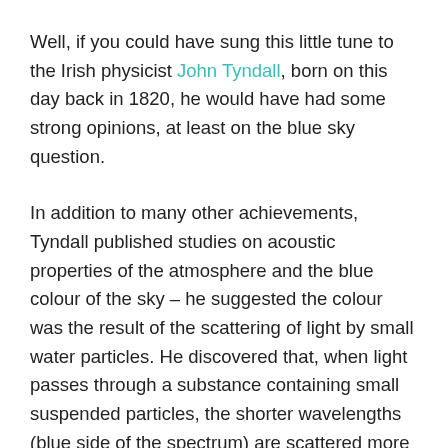Well, if you could have sung this little tune to the Irish physicist John Tyndall, born on this day back in 1820, he would have had some strong opinions, at least on the blue sky question.
In addition to many other achievements, Tyndall published studies on acoustic properties of the atmosphere and the blue colour of the sky – he suggested the colour was the result of the scattering of light by small water particles. He discovered that, when light passes through a substance containing small suspended particles, the shorter wavelengths (blue side of the spectrum) are scattered more than the longer, red wavelengths. Since the blue light is scattered in all